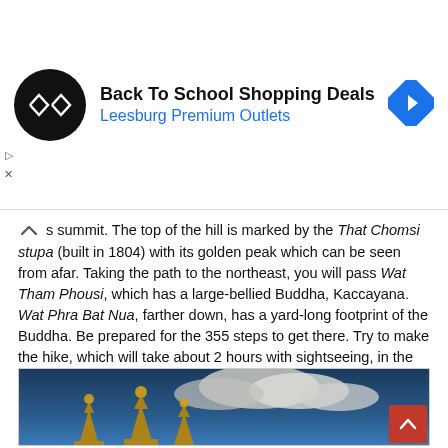[Figure (other): Advertisement banner: Back To School Shopping Deals - Leesburg Premium Outlets with circular black logo and blue diamond arrow icon]
s summit. The top of the hill is marked by the That Chomsi stupa (built in 1804) with its golden peak which can be seen from afar. Taking the path to the northeast, you will pass Wat Tham Phousi, which has a large-bellied Buddha, Kaccayana. Wat Phra Bat Nua, farther down, has a yard-long footprint of the Buddha. Be prepared for the 355 steps to get there. Try to make the hike, which will take about 2 hours with sightseeing, in the early morning or late afternoon to escape the midday heat. It is also a great spot to watch the sunset.
[Figure (photo): Photo of golden temple spires/stupas against a dramatic blue sky with white clouds]